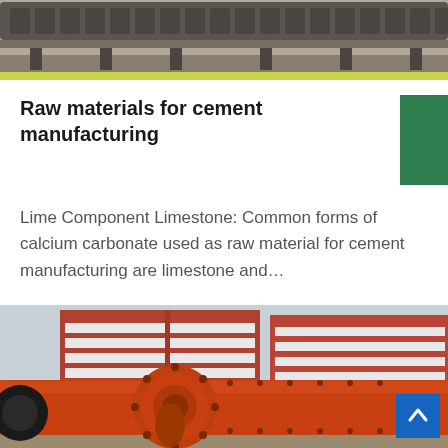[Figure (photo): Industrial conveyor belt or crusher machinery, close-up of heavy equipment, grayish-brown tones]
Raw materials for cement manufacturing
Lime Component Limestone: Common forms of calcium carbonate used as raw material for cement manufacturing are limestone and…
[Figure (photo): Large orange industrial ball mill in front of a red and white multi-story factory building, outdoor industrial yard]